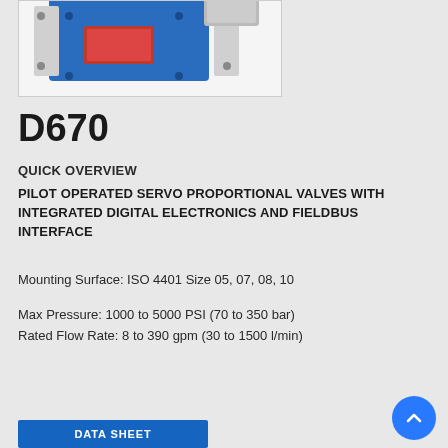[Figure (photo): Product photo of D670 pilot operated servo proportional valve with blue body and red label, partially visible at top of page]
D670
QUICK OVERVIEW
PILOT OPERATED SERVO PROPORTIONAL VALVES WITH INTEGRATED DIGITAL ELECTRONICS AND FIELDBUS INTERFACE
Mounting Surface: ISO 4401 Size 05, 07, 08, 10
Max Pressure: 1000 to 5000 PSI (70 to 350 bar)
Rated Flow Rate: 8 to 390 gpm (30 to 1500 l/min)